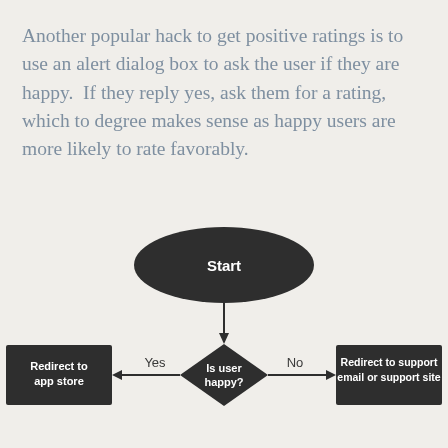Another popular hack to get positive ratings is to use an alert dialog box to ask the user if they are happy. If they reply yes, ask them for a rating, which to degree makes sense as happy users are more likely to rate favorably.
[Figure (flowchart): Flowchart showing: Start (ellipse) -> Is user happy? (diamond). Yes leads left to 'Redirect to app store' box. No leads right to 'Redirect to support email or support site' box.]